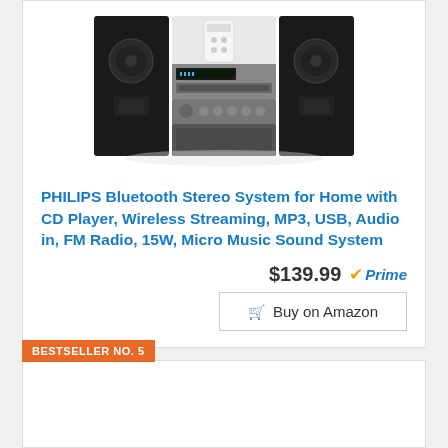[Figure (photo): Philips Bluetooth Stereo System with two black speakers and a central unit with CD player and remote control]
PHILIPS Bluetooth Stereo System for Home with CD Player, Wireless Streaming, MP3, USB, Audio in, FM Radio, 15W, Micro Music Sound System
$139.99 Prime
Buy on Amazon
BESTSELLER NO. 5